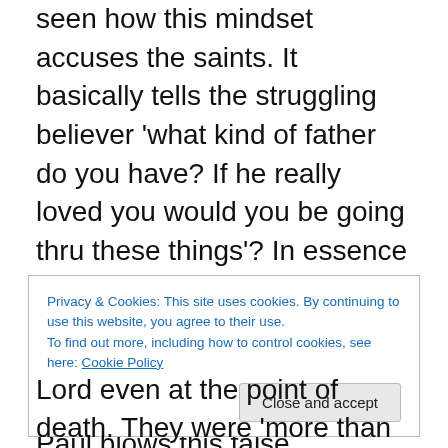seen how this mindset accuses the saints. It basically tells the struggling believer 'what kind of father do you have? If he really loved you would you be going thru these things'? In essence we are saying 'tribulation and distress and persecution' are all signs that 'you have been separated from Gods love'! Paul blows this false [materialistic] mindset out of the water. He says it is thru these things that we are more than conquerors. It is the ability to look into the face of Pontius Pilate and say 'you have no power over me, my father has permitted these things to take place. I am here to lay my life down for his glory'. Paul
Privacy & Cookies: This site uses cookies. By continuing to use this website, you agree to their use.
To find out more, including how to control cookies, see here: Cookie Policy
Lord even at the point of death. They were 'more than